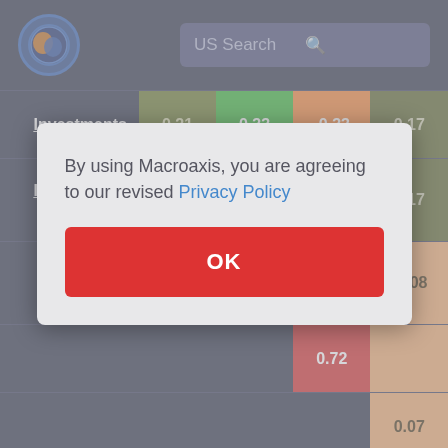[Figure (logo): Macroaxis globe logo — blue circle with orange and dark overlay, circular border]
US Search
|  | Col1 | Col2 | Col3 | Col4 |
| --- | --- | --- | --- | --- |
| Investments | 0.21 | 0.33 | -0.33 | 0.17 |
| Investments Current | 0.21 | 0.33 | -0.33 | 0.17 |
| Total | 0.96 | 0.92 | -0.91 | -0.08 |
|  |  |  |  | 0.72 |
|  |  |  |  | 0.07 |
| Trade and |  |  |  |  |
By using Macroaxis, you are agreeing to our revised Privacy Policy
OK